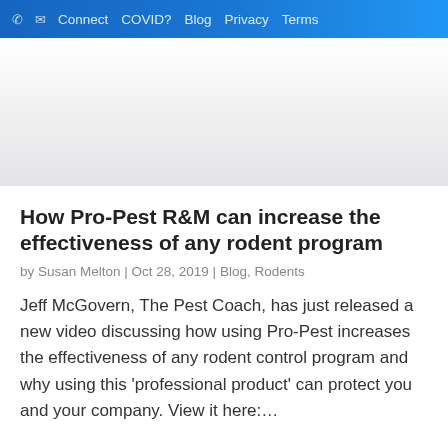✆ ✉ Connect COVID? Blog Privacy Terms
[Figure (other): Advertisement banner area with white to light gray gradient background]
How Pro-Pest R&M can increase the effectiveness of any rodent program
by Susan Melton | Oct 28, 2019 | Blog, Rodents
Jeff McGovern, The Pest Coach, has just released a new video discussing how using Pro-Pest increases the effectiveness of any rodent control program and why using this 'professional product' can protect you and your company. View it here:…